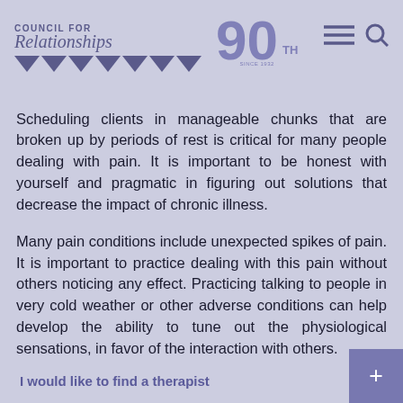[Figure (logo): Council for Relationships 90th anniversary logo with script text and triangular banner]
Scheduling clients in manageable chunks that are broken up by periods of rest is critical for many people dealing with pain. It is important to be honest with yourself and pragmatic in figuring out solutions that decrease the impact of chronic illness.
Many pain conditions include unexpected spikes of pain. It is important to practice dealing with this pain without others noticing any effect. Practicing talking to people in very cold weather or other adverse conditions can help develop the ability to tune out the physiological sensations, in favor of the interaction with others.
I would like to find a therapist